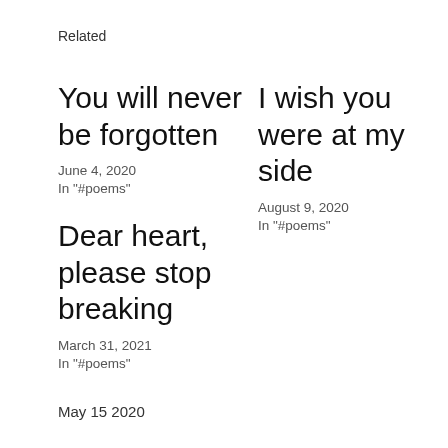Related
You will never be forgotten
June 4, 2020
In "#poems"
I wish you were at my side
August 9, 2020
In "#poems"
Dear heart, please stop breaking
March 31, 2021
In "#poems"
May 15 2020